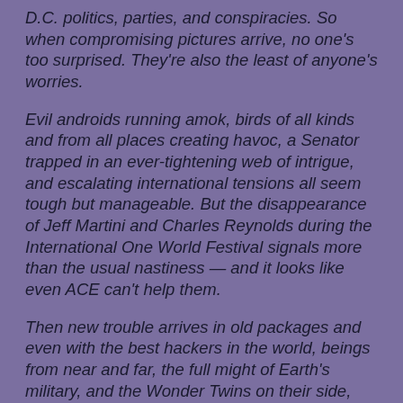D.C. politics, parties, and conspiracies. So when compromising pictures arrive, no one's too surprised. They're also the least of anyone's worries.
Evil androids running amok, birds of all kinds and from all places creating havoc, a Senator trapped in an ever-tightening web of intrigue, and escalating international tensions all seem tough but manageable. But the disappearance of Jeff Martini and Charles Reynolds during the International One World Festival signals more than the usual nastiness — and it looks like even ACE can't help them.
Then new trouble arrives in old packages and even with the best hackers in the world, beings from near and far, the full might of Earth's military, and the Wonder Twins on their side, Centaurion Division's outmanned and outgunned.
Now Kitty's racing against the clock to find not only Jeff and Charles, but also...